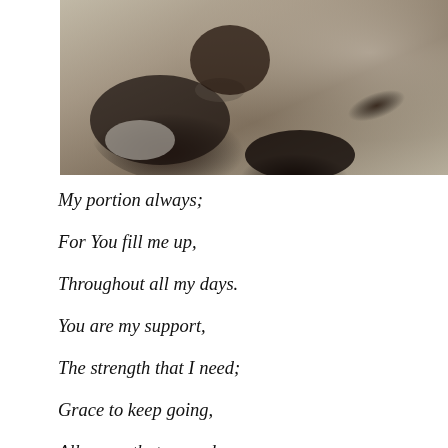[Figure (photo): Partial photo of a dog or animal lying on a carpeted floor, showing dark fur and a beige/grey carpet background. The image is cropped at the top of the page.]
My portion always;
For You fill me up,
Throughout all my days.
You are my support,
The strength that I need;
Grace to keep going,
All peace that exceeds.
Because both the need for...